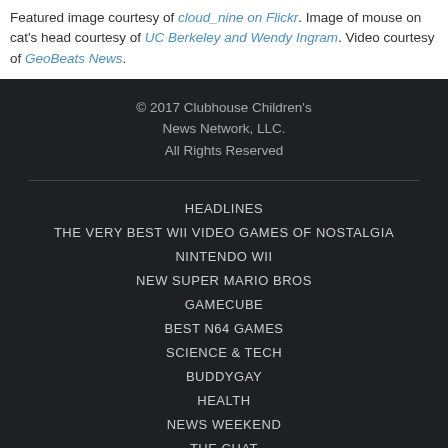Featured image courtesy of cloud_nine on Flickr. Image of mouse on cat's head courtesy of UC Berkeley and Wendy Ingram. Video courtesy of GeoBeats News.
© 2017 Clubhouse Children's News Network, LLC. All Rights Reserved
HEADLINES
THE VERY BEST WII VIDEO GAMES OF NOSTALGIA
NINTENDO WII
NEW SUPER MARIO BROS
GAMECUBE
BEST N64 GAMES
SCIENCE & TECH
BUDDYGAY
HEALTH
NEWS WEEKEND
THE CHAT
ENTERTAINMENT
СИЕАРЕТЬI ROND